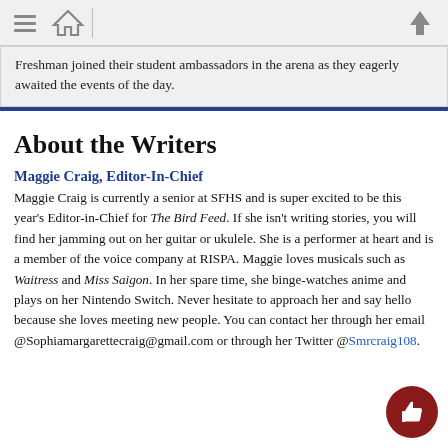[navigation icons: menu, home, up arrow]
Freshman joined their student ambassadors in the arena as they eagerly awaited the events of the day.
About the Writers
Maggie Craig, Editor-In-Chief
Maggie Craig is currently a senior at SFHS and is super excited to be this year's Editor-in-Chief for The Bird Feed. If she isn't writing stories, you will find her jamming out on her guitar or ukulele. She is a performer at heart and is a member of the voice company at RISPA. Maggie loves musicals such as Waitress and Miss Saigon. In her spare time, she binge-watches anime and plays on her Nintendo Switch. Never hesitate to approach her and say hello because she loves meeting new people. You can contact her through her email @Sophiamargarettecraig@gmail.com or through her Twitter @Smrcraig108.